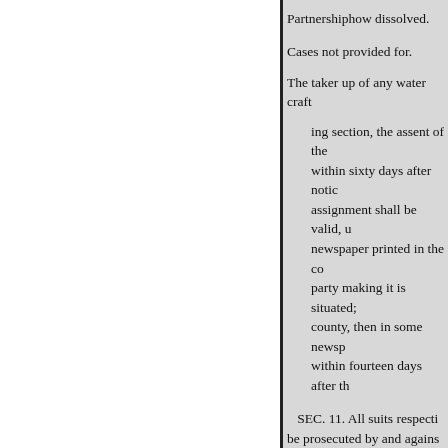Partnershiphow dissolved.
Cases not provided for.
The taker up of any water craft
ing section, the assent of the within sixty days after notic assignment shall be valid, u newspaper printed in the co party making it is situated; county, then in some newsp within fourteen days after th
SEC. 11. All suits respecti be prosecuted by and agains those cases in which provis partners shall be deemed ge ships shall be deemed gene partners deemed general pa and excepting also those ca severally responsible on ac withdrawn from the commo